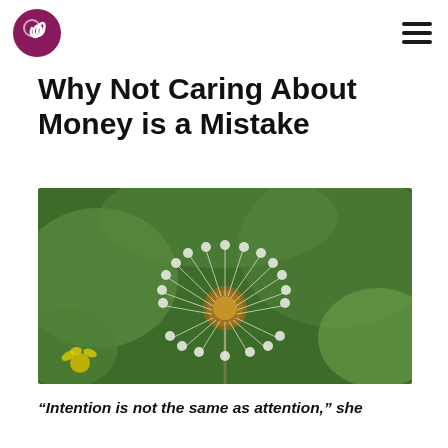Why Not Caring About Money is a Mistake
[Figure (photo): Close-up photograph of a dandelion seed head (dandelion clock) against a blurred green background with a yellow flower visible in the lower left.]
“Intention is not the same as attention,” she